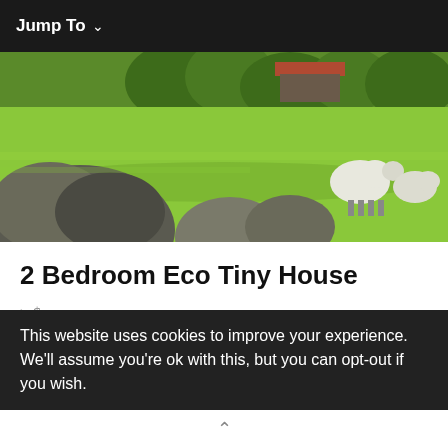Jump To
[Figure (photo): Outdoor pastoral scene with green grass, large rocks/boulders in foreground, sheep grazing, trees and a red-roofed structure in the background]
2 Bedroom Eco Tiny House
> $
> 2 guests
> Tiny home offering comfort and style
This website uses cookies to improve your experience. We'll assume you're ok with this, but you can opt-out if you wish.